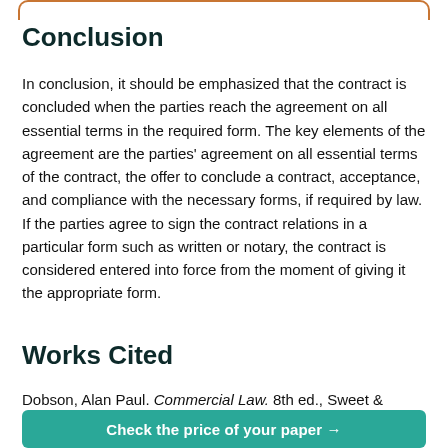Conclusion
In conclusion, it should be emphasized that the contract is concluded when the parties reach the agreement on all essential terms in the required form. The key elements of the agreement are the parties' agreement on all essential terms of the contract, the offer to conclude a contract, acceptance, and compliance with the necessary forms, if required by law. If the parties agree to sign the contract relations in a particular form such as written or notary, the contract is considered entered into force from the moment of giving it the appropriate form.
Works Cited
Dobson, Alan Paul. Commercial Law. 8th ed., Sweet &
Check the price of your paper →